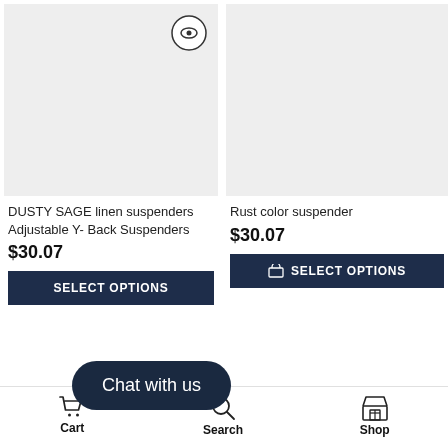[Figure (photo): Product image placeholder (light gray) for DUSTY SAGE linen suspenders with eye/quick-view icon]
[Figure (photo): Product image placeholder (light gray) for Rust color suspender]
DUSTY SAGE linen suspenders Adjustable Y- Back Suspenders
$30.07
Rust color suspender
$30.07
SELECT OPTIONS
Chat with us
Cart | Search | Shop